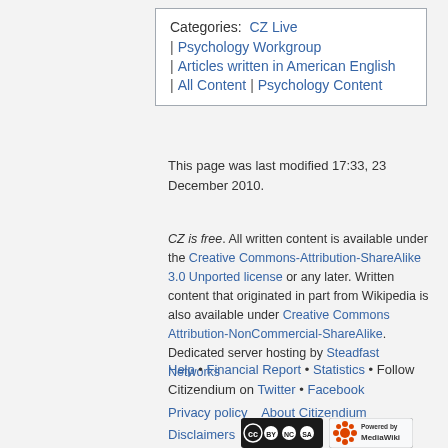Categories: CZ Live | Psychology Workgroup | Articles written in American English | All Content | Psychology Content
This page was last modified 17:33, 23 December 2010.
CZ is free. All written content is available under the Creative Commons-Attribution-ShareAlike 3.0 Unported license or any later. Written content that originated in part from Wikipedia is also available under Creative Commons Attribution-NonCommercial-ShareAlike. Dedicated server hosting by Steadfast Networks
Help • Financial Report • Statistics • Follow Citizendium on Twitter • Facebook
Privacy policy  About Citizendium
Disclaimers